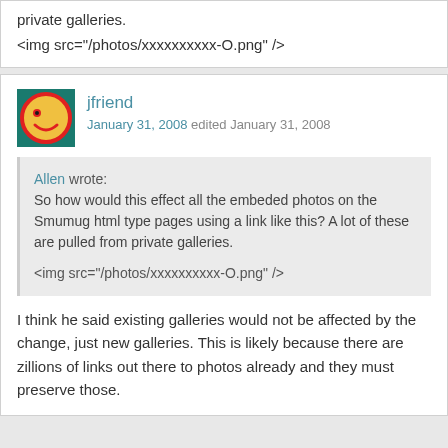private galleries.
<img src="/photos/xxxxxxxxxx-O.png" />
jfriend
January 31, 2008 edited January 31, 2008
Allen wrote:
So how would this effect all the embeded photos on the Smumug html type pages using a link like this? A lot of these are pulled from private galleries.

<img src="/photos/xxxxxxxxxx-O.png" />
I think he said existing galleries would not be affected by the change, just new galleries. This is likely because there are zillions of links out there to photos already and they must preserve those.